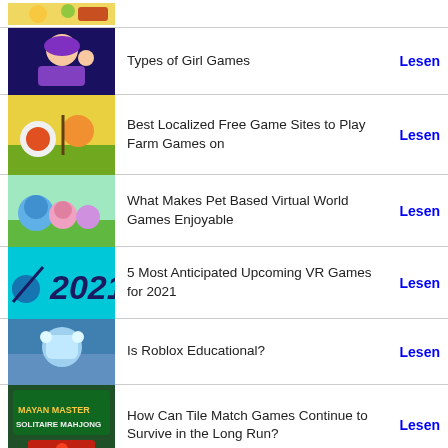Types of Girl Games — Lesen
Best Localized Free Game Sites to Play Farm Games on — Lesen
What Makes Pet Based Virtual World Games Enjoyable — Lesen
5 Most Anticipated Upcoming VR Games for 2021 — Lesen
Is Roblox Educational? — Lesen
How Can Tile Match Games Continue to Survive in the Long Run? — Lesen
Monstera Games Platform: Get Free HTML 5 Games for — Lesen